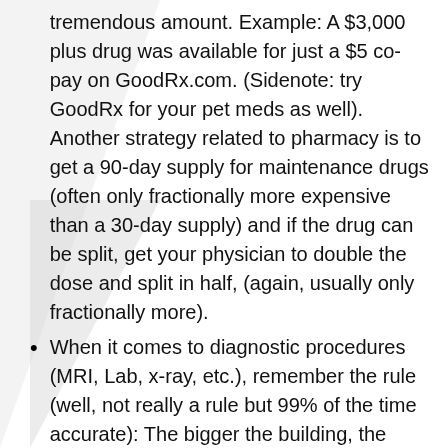tremendous amount. Example: A $3,000 plus drug was available for just a $5 co-pay on GoodRx.com. (Sidenote: try GoodRx for your pet meds as well). Another strategy related to pharmacy is to get a 90-day supply for maintenance drugs (often only fractionally more expensive than a 30-day supply) and if the drug can be split, get your physician to double the dose and split in half, (again, usually only fractionally more).
When it comes to diagnostic procedures (MRI, Lab, x-ray, etc.), remember the rule (well, not really a rule but 99% of the time accurate): The bigger the building, the more expensive the service. (I.e. don't get your MRI done at the hospital if you have the option. Free